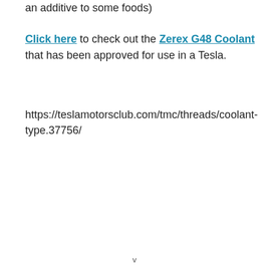an additive to some foods)
Click here to check out the Zerex G48 Coolant that has been approved for use in a Tesla.
https://teslamotorsclub.com/tmc/threads/coolant-type.37756/
v